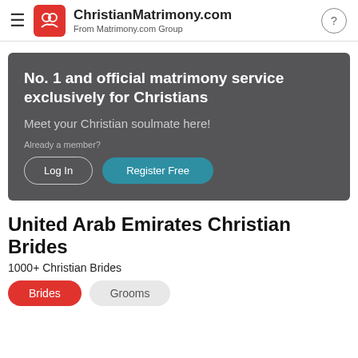ChristianMatrimony.com From Matrimony.com Group
[Figure (screenshot): Dark grey banner with white text: 'No. 1 and official matrimony service exclusively for Christians', subtitle 'Meet your Christian soulmate here!', member note 'Already a member?', Log In and Register Free buttons]
United Arab Emirates Christian Brides
1000+ Christian Brides
Brides   Grooms